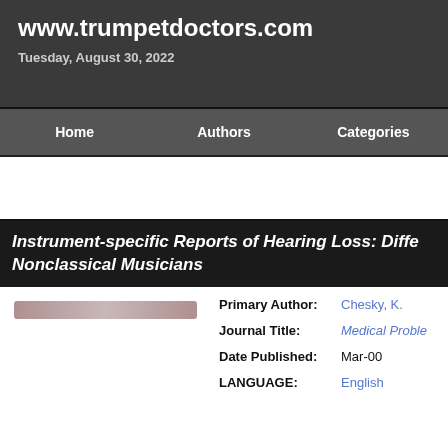www.trumpetdoctors.com
Tuesday, August 30, 2022
Instrument-specific Reports of Hearing Loss: Diffe... Nonclassical Musicians
| Field | Value |
| --- | --- |
| Primary Author: | Chesky, K. |
| Journal Title: | Medical Proble... |
| Date Published: | Mar-00 |
| LANGUAGE: | English |